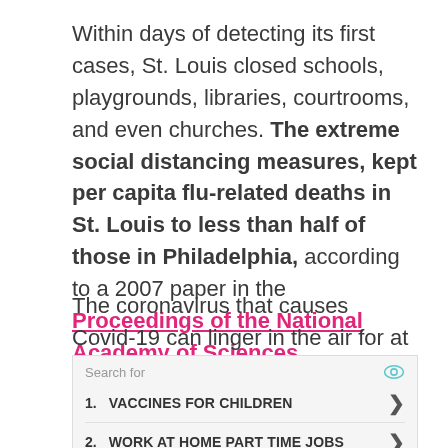Within days of detecting its first cases, St. Louis closed schools, playgrounds, libraries, courtrooms, and even churches. The extreme social distancing measures, kept per capita flu-related deaths in St. Louis to less than half of those in Philadelphia, according to a 2007 paper in the Proceedings of the National Academy of Sciences
The coronavirus that causes Covid-19 can linger in the air for at least 30 minutes and travel up to 4.5 metres –
[Figure (infographic): Advertisement search widget showing 'Search for' header with eye icon, listing 1. VACCINES FOR CHILDREN and 2. WORK AT HOME PART TIME JOBS with chevron arrows, and an ad arrow footer icon.]